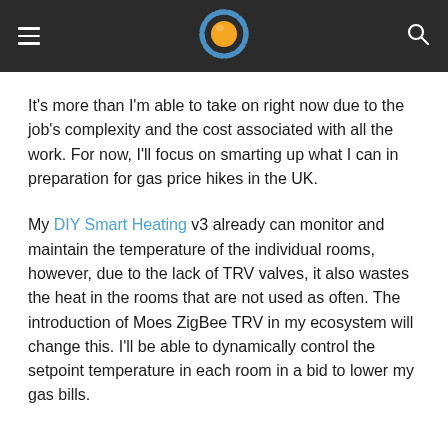[navigation bar with hamburger menu, sun/gear logo, and search icon]
It's more than I'm able to take on right now due to the job's complexity and the cost associated with all the work. For now, I'll focus on smarting up what I can in preparation for gas price hikes in the UK.
My DIY Smart Heating v3 already can monitor and maintain the temperature of the individual rooms, however, due to the lack of TRV valves, it also wastes the heat in the rooms that are not used as often. The introduction of Moes ZigBee TRV in my ecosystem will change this. I'll be able to dynamically control the setpoint temperature in each room in a bid to lower my gas bills.